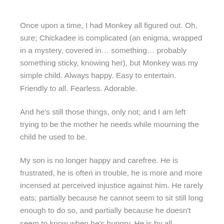Once upon a time, I had Monkey all figured out. Oh, sure; Chickadee is complicated (an enigma, wrapped in a mystery, covered in… something… probably something sticky, knowing her), but Monkey was my simple child. Always happy. Easy to entertain. Friendly to all. Fearless. Adorable.
And he's still those things, only not; and I am left trying to be the mother he needs while mourning the child he used to be.
My son is no longer happy and carefree. He is frustrated, he is often in trouble, he is more and more incensed at perceived injustice against him. He rarely eats; partially because he cannot seem to sit still long enough to do so, and partially because he doesn't seem to know when he's hungry. He is by all accounts quite bright, but meeting the bare minimum at school.